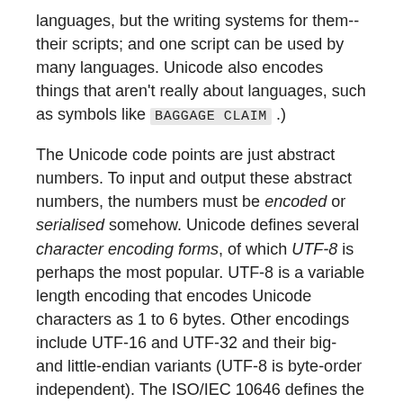languages, but the writing systems for them--their scripts; and one script can be used by many languages. Unicode also encodes things that aren't really about languages, such as symbols like BAGGAGE CLAIM .)
The Unicode code points are just abstract numbers. To input and output these abstract numbers, the numbers must be encoded or serialised somehow. Unicode defines several character encoding forms, of which UTF-8 is perhaps the most popular. UTF-8 is a variable length encoding that encodes Unicode characters as 1 to 6 bytes. Other encodings include UTF-16 and UTF-32 and their big- and little-endian variants (UTF-8 is byte-order independent). The ISO/IEC 10646 defines the UCS-2 and UCS-4 encoding forms.
For more information about encodings--for instance, to learn what surrogates and byte order marks (BOMs) are--see perlunicode.
Perl's Unicode Support